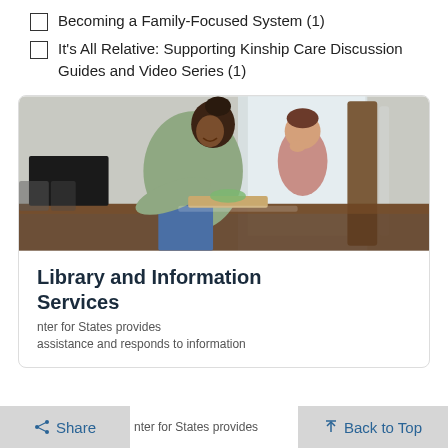Becoming a Family-Focused System (1)
It's All Relative: Supporting Kinship Care Discussion Guides and Video Series (1)
[Figure (photo): A Black woman smiling and leaning over a kitchen counter with a toddler beside her, preparing food together in a bright home kitchen.]
Library and Information Services
nter for States provides assistance and responds to information
Share   Back to Top